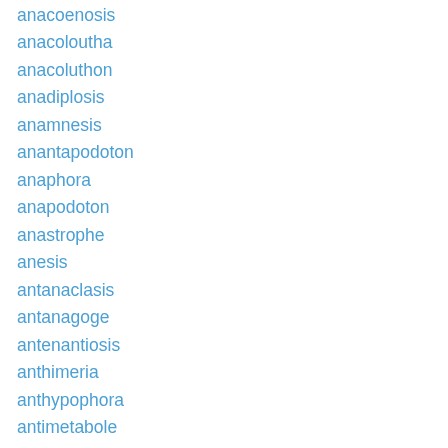anacoenosis
anacoloutha
anacoluthon
anadiplosis
anamnesis
anantapodoton
anaphora
anapodoton
anastrophe
anesis
antanaclasis
antanagoge
antenantiosis
anthimeria
anthypophora
antimetabole
antimetathesis
antiprosopopoeia
antirrhesis
antisagoge